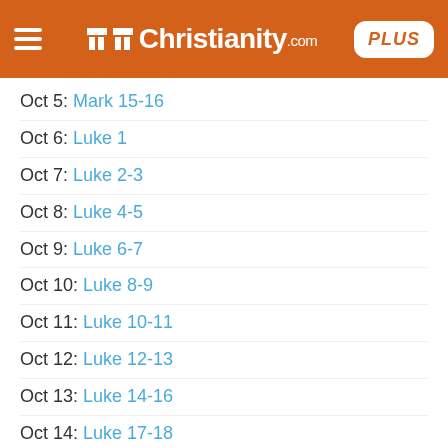Christianity.com PLUS
Oct 5: Mark 15-16
Oct 6: Luke 1
Oct 7: Luke 2-3
Oct 8: Luke 4-5
Oct 9: Luke 6-7
Oct 10: Luke 8-9
Oct 11: Luke 10-11
Oct 12: Luke 12-13
Oct 13: Luke 14-16
Oct 14: Luke 17-18
Oct 15: Luke 19-20
Oct 16: Luke 21-22
Oct 17: Luke 23-24